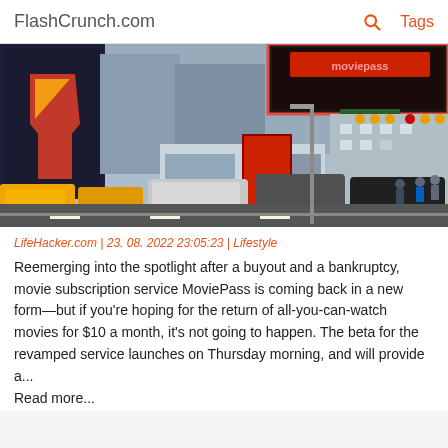FlashCrunch.com | Tags
[Figure (photo): Times Square street scene with taxis, cars, buildings with billboards including a MoviePass advertisement and a Shazam superhero billboard, and pedestrians on the sidewalk.]
LifeHacker.com | 23. 08. 2022 23:05:23 | Lifestyle
Reemerging into the spotlight after a buyout and a bankruptcy, movie subscription service MoviePass is coming back in a new form—but if you're hoping for the return of all-you-can-watch movies for $10 a month, it's not going to happen. The beta for the revamped service launches on Thursday morning, and will provide a... Read more...